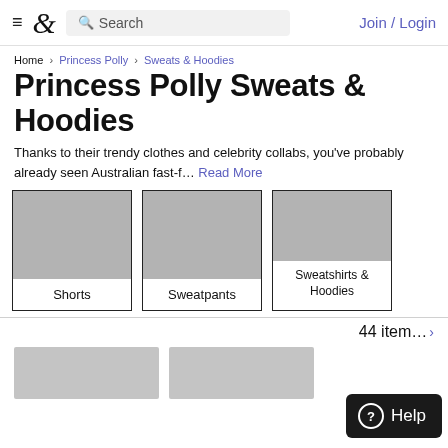≡  &  Search  Join / Login
Home › Princess Polly › Sweets & Hoodies
Princess Polly Sweats & Hoodies
Thanks to their trendy clothes and celebrity collabs, you've probably already seen Australian fast-f… Read More
[Figure (other): Three category cards: Shorts, Sweatpants, Sweatshirts & Hoodies — each with a grey placeholder image above and a text label below]
44 items